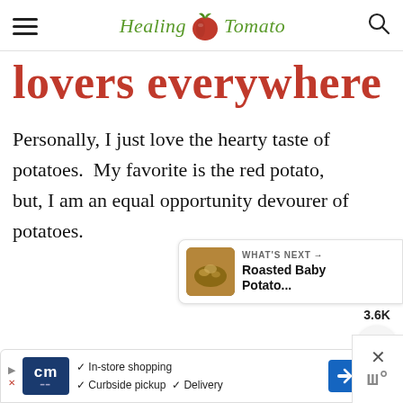Healing Tomato
lovers everywhere
Personally, I just love the hearty taste of potatoes.  My favorite is the red potato, but, I am an equal opportunity devourer of potatoes.
[Figure (infographic): Floating social buttons: heart icon with teal background and share icon, with 3.6K count label]
[Figure (infographic): What's Next panel showing Roasted Baby Potato... with thumbnail]
[Figure (infographic): Advertisement bar: CM logo, In-store shopping, Curbside pickup, Delivery checkmarks, navigation icon]